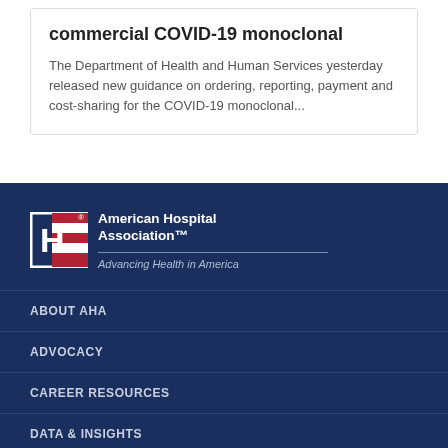commercial COVID-19 monoclonal
The Department of Health and Human Services yesterday released new guidance on ordering, reporting, payment and cost-sharing for the COVID-19 monoclonal...
[Figure (logo): American Hospital Association logo with H in a box with flag stripes, text 'American Hospital Association™' and tagline 'Advancing Health in America']
ABOUT AHA
ADVOCACY
CAREER RESOURCES
DATA & INSIGHTS